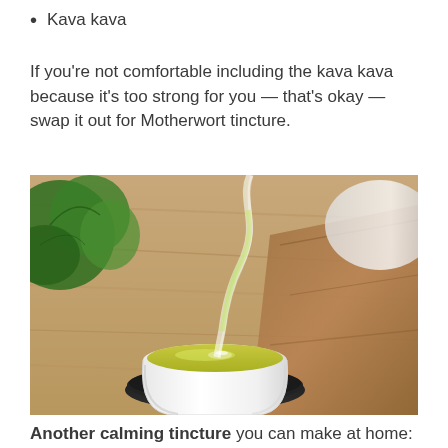Kava kava
If you're not comfortable including the kava kava because it's too strong for you — that's okay — swap it out for Motherwort tincture.
[Figure (photo): Photo of green tea being poured from a teapot into a white ceramic cup on a black saucer, with a wooden board and green plants in the background on a wooden table.]
Another calming tincture you can make at home: